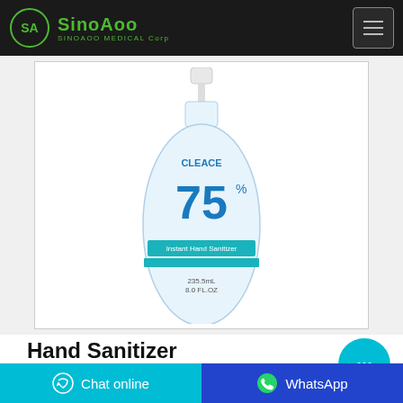SinoAoo SINOAOO MEDICAL Corp
[Figure (photo): A clear plastic bottle of hand sanitizer labeled 'CLEACE 75% Instant Hand Sanitizer' with a pump dispenser top, 235.5mL / 8.0 FL OZ]
Hand Sanitizer
Hand Sanitisers. Our firm has teamed
Chat online   WhatsApp